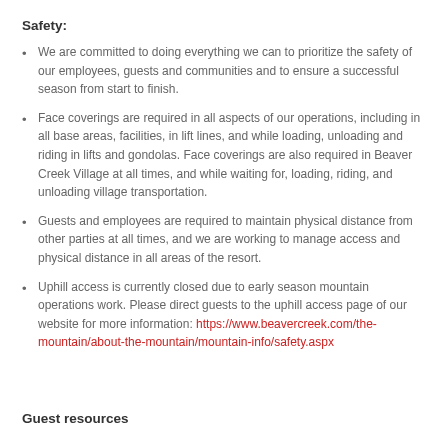Safety:
We are committed to doing everything we can to prioritize the safety of our employees, guests and communities and to ensure a successful season from start to finish.
Face coverings are required in all aspects of our operations, including in all base areas, facilities, in lift lines, and while loading, unloading and riding in lifts and gondolas. Face coverings are also required in Beaver Creek Village at all times, and while waiting for, loading, riding, and unloading village transportation.
Guests and employees are required to maintain physical distance from other parties at all times, and we are working to manage access and physical distance in all areas of the resort.
Uphill access is currently closed due to early season mountain operations work. Please direct guests to the uphill access page of our website for more information: https://www.beavercreek.com/the-mountain/about-the-mountain/mountain-info/safety.aspx
Guest resources